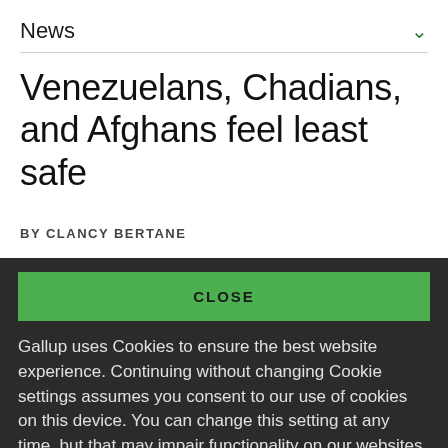News
Venezuelans, Chadians, and Afghans feel least safe
BY CLANCY BERTANE
CLOSE
Gallup uses Cookies to ensure the best website experience. Continuing without changing Cookie settings assumes you consent to our use of cookies on this device. You can change this setting at any time, but that may impair functionality on our websites.
Privacy Statement   Site Terms of Use and Sale
Product Terms of Use   Adjust your cookie settings.